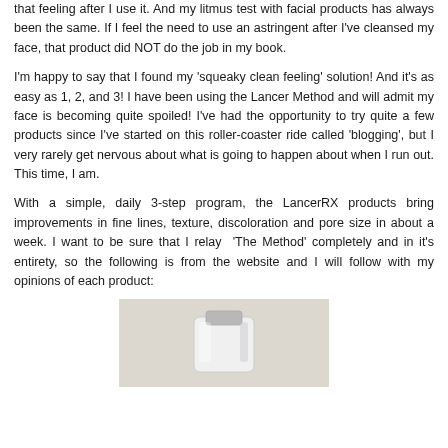that feeling after I use it. And my litmus test with facial products has always been the same. If I feel the need to use an astringent after I've cleansed my face, that product did NOT do the job in my book.
I'm happy to say that I found my 'squeaky clean feeling' solution! And it's as easy as 1, 2, and 3! I have been using the Lancer Method and will admit my face is becoming quite spoiled! I've had the opportunity to try quite a few products since I've started on this roller-coaster ride called 'blogging', but I very rarely get nervous about what is going to happen about when I run out. This time, I am.
With a simple, daily 3-step program, the LancerRX products bring improvements in fine lines, texture, discoloration and pore size in about a week. I want to be sure that I relay 'The Method' completely and in it's entirety, so the following is from the website and I will follow with my opinions of each product:
[Figure (photo): A skincare product tube (white/silver) on a light beige/cream background, partially visible at the bottom of the page.]